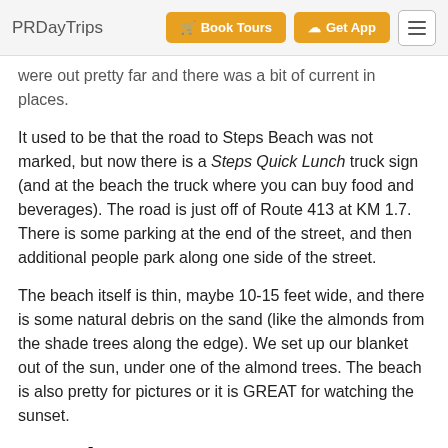PRDayTrips | Book Tours | Get App
were out pretty far and there was a bit of current in places.
It used to be that the road to Steps Beach was not marked, but now there is a Steps Quick Lunch truck sign (and at the beach the truck where you can buy food and beverages). The road is just off of Route 413 at KM 1.7. There is some parking at the end of the street, and then additional people park along one side of the street.
The beach itself is thin, maybe 10-15 feet wide, and there is some natural debris on the sand (like the almonds from the shade trees along the edge). We set up our blanket out of the sun, under one of the almond trees. The beach is also pretty for pictures or it is GREAT for watching the sunset.
Gearing Up
Snorkel gear